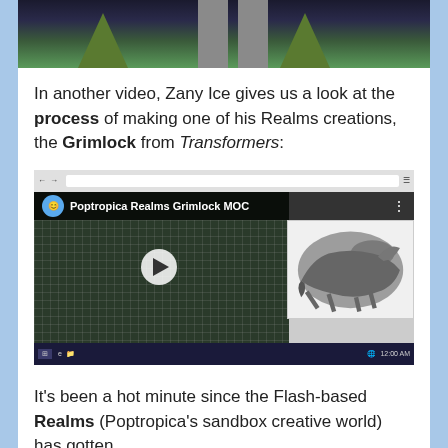[Figure (screenshot): Video game screenshot showing trees and columns against a dark background]
In another video, Zany Ice gives us a look at the process of making one of his Realms creations, the Grimlock from Transformers:
[Figure (screenshot): YouTube video thumbnail for 'Poptropica Realms Grimlock MOC' showing a pixel-art dinosaur skeleton on the left and a 3D LEGO dinosaur model on the right, with a play button in the center]
It's been a hot minute since the Flash-based Realms (Poptropica's sandbox creative world) has gotten